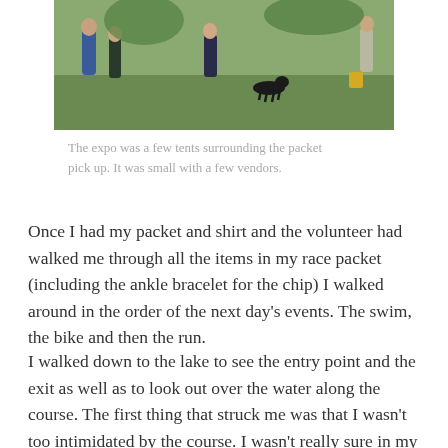[Figure (photo): Outdoor photo showing people standing on a grassy field, with a dog visible. The scene appears to be at an event or expo area.]
The expo was a few tents surrounding the packet pick up. It was small with a few vendors.
Once I had my packet and shirt and the volunteer had walked me through all the items in my race packet (including the ankle bracelet for the chip) I walked around in the order of the next day's events. The swim, the bike and then the run.
I walked down to the lake to see the entry point and the exit as well as to look out over the water along the course. The first thing that struck me was that I wasn't too intimidated by the course. I wasn't really sure in my mind how I would have pictured the swim as I'd only seen an Ironman competition on